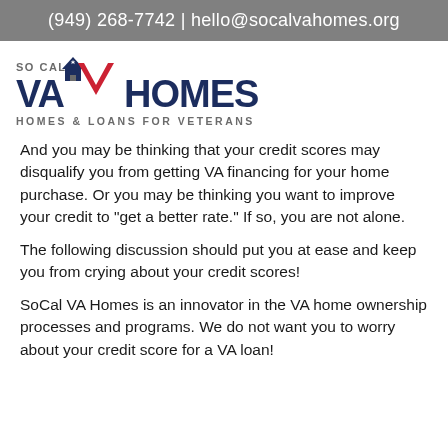(949) 268-7742 | hello@socalvahomes.org
[Figure (logo): SoCal VA Homes logo with house icon and checkmark, tagline: HOMES & LOANS FOR VETERANS]
And you may be thinking that your credit scores may disqualify you from getting VA financing for your home purchase. Or you may be thinking you want to improve your credit to “get a better rate.” If so, you are not alone.
The following discussion should put you at ease and keep you from crying about your credit scores!
SoCal VA Homes is an innovator in the VA home ownership processes and programs. We do not want you to worry about your credit score for a VA loan!